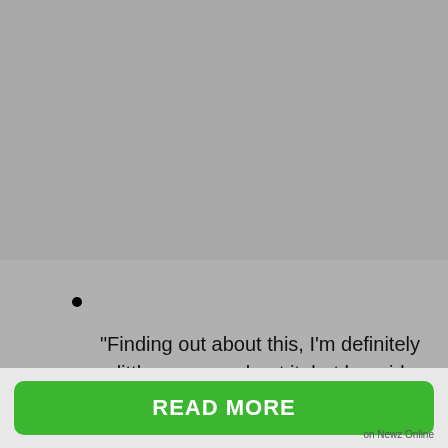[Figure (photo): Gray image placeholder area at top of page]
•
“Finding out about this, I’m definitely a little nervous about it, but her side of it is definitely worse than mine,” says Evan, who will be the one to administer shots twice a day. Carlin will also have to take pills.
“No one wants to hear the news that you have a health risk, [but] finding this out early on is the saving grace for the couple but
READ MORE
on Newz Online